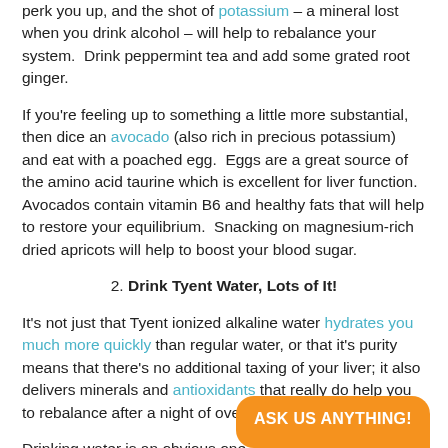perk you up, and the shot of potassium – a mineral lost when you drink alcohol – will help to rebalance your system.  Drink peppermint tea and add some grated root ginger.
If you're feeling up to something a little more substantial, then dice an avocado (also rich in precious potassium) and eat with a poached egg.  Eggs are a great source of the amino acid taurine which is excellent for liver function.  Avocados contain vitamin B6 and healthy fats that will help to restore your equilibrium.  Snacking on magnesium-rich dried apricots will help to boost your blood sugar.
2. Drink Tyent Water, Lots of It!
It's not just that Tyent ionized alkaline water hydrates you much more quickly than regular water, or that it's purity means that there's no additional taxing of your liver; it also delivers minerals and antioxidants that really do help you to rebalance after a night of overdoing it.
Drinking water is an obvious one, but